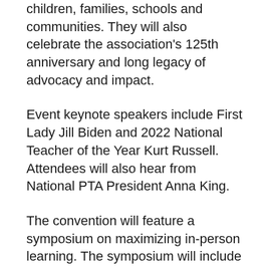children, families, schools and communities. They will also celebrate the association's 125th anniversary and long legacy of advocacy and impact.
Event keynote speakers include First Lady Jill Biden and 2022 National Teacher of the Year Kurt Russell. Attendees will also hear from National PTA President Anna King.
The convention will feature a symposium on maximizing in-person learning. The symposium will include a two-part panel discussion on how our nation can plan a path forward from the COVID-19 pandemic and how parents and caregivers can support student safety and well-being with key officials from the Administration; American Academy of Pediatrics; Collaborative for